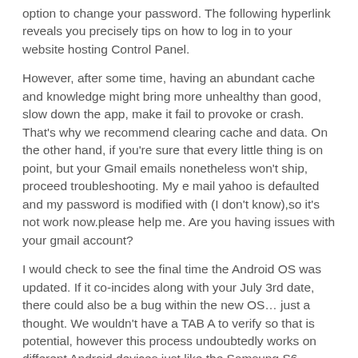option to change your password. The following hyperlink reveals you precisely tips on how to log in to your website hosting Control Panel.
However, after some time, having an abundant cache and knowledge might bring more unhealthy than good, slow down the app, make it fail to provoke or crash. That's why we recommend clearing cache and data. On the other hand, if you're sure that every little thing is on point, but your Gmail emails nonetheless won't ship, proceed troubleshooting. My e mail yahoo is defaulted and my password is modified with (I don't know),so it's not work now.please help me. Are you having issues with your gmail account?
I would check to see the final time the Android OS was updated. If it co-incides along with your July 3rd date, there could also be a bug within the new OS… just a thought. We wouldn't have a TAB A to verify so that is potential, however this process undoubtedly works on different Android devices just like the Samsung S6. Hardware & SoftwareNEW HARDWARE &